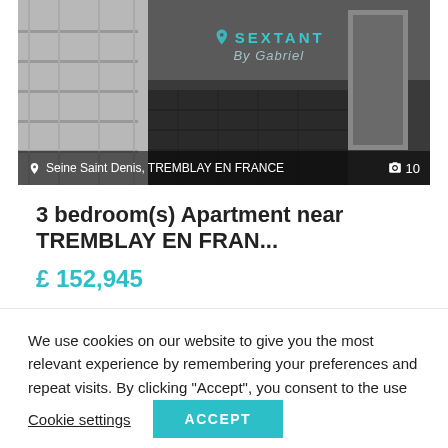[Figure (photo): Interior photo of an apartment room with dark herringbone floor and white built-in shelving, watermarked with SEXTANT By Gabriel logo. Location bar shows: Seine Saint Denis, TREMBLAY EN FRANCE, and photo count: 10.]
3 bedroom(s) Apartment near TREMBLAY EN FRAN...
£ 152,945
We use cookies on our website to give you the most relevant experience by remembering your preferences and repeat visits. By clicking "Accept", you consent to the use of ALL the cookies.
Cookie settings   ACCEPT